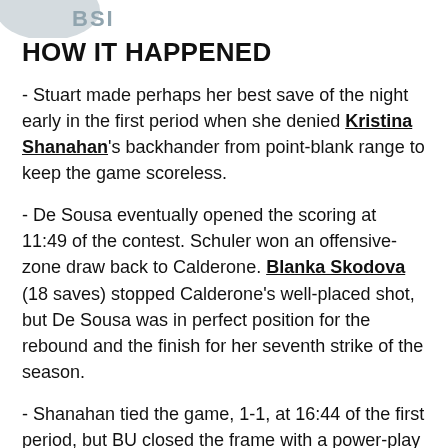[Figure (logo): Partial logo visible at top of page, grey/blue circular shape with partial text]
HOW IT HAPPENED
- Stuart made perhaps her best save of the night early in the first period when she denied Kristina Shanahan's backhander from point-blank range to keep the game scoreless.
- De Sousa eventually opened the scoring at 11:49 of the contest. Schuler won an offensive-zone draw back to Calderone. Blanka Skodova (18 saves) stopped Calderone's well-placed shot, but De Sousa was in perfect position for the rebound and the finish for her seventh strike of the season.
- Shanahan tied the game, 1-1, at 16:44 of the first period, but BU closed the frame with a power-play